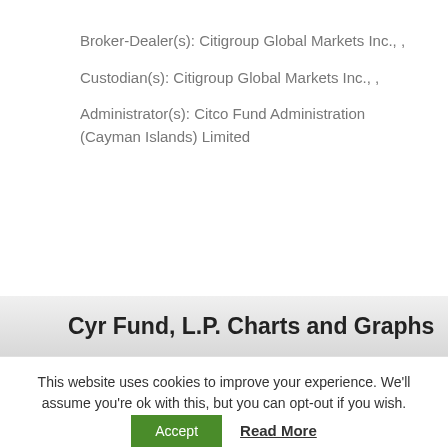Broker-Dealer(s): Citigroup Global Markets Inc., ,
Custodian(s): Citigroup Global Markets Inc., ,
Administrator(s): Citco Fund Administration (Cayman Islands) Limited
Cyr Fund, L.P. Charts and Graphs
This website uses cookies to improve your experience. We'll assume you're ok with this, but you can opt-out if you wish.
Accept  Read More